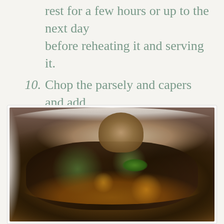rest for a few hours or up to the next day before reheating it and serving it.
10. Chop the parsely and capers and add enough olive oil to cover them.
11. Serve it in bowls and drizzle the parsley sauce over it.
[Figure (photo): A bowl of dark stew with beans, greens, and vegetables, garnished with fresh parsley, with a piece of rustic bread resting on top, served in a white bowl.]